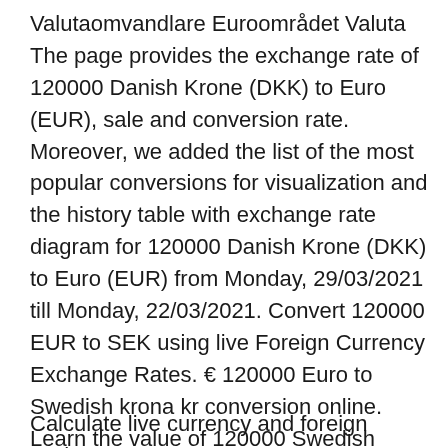Valutaomvandlare Euroområdet Valuta The page provides the exchange rate of 120000 Danish Krone (DKK) to Euro (EUR), sale and conversion rate. Moreover, we added the list of the most popular conversions for visualization and the history table with exchange rate diagram for 120000 Danish Krone (DKK) to Euro (EUR) from Monday, 29/03/2021 till Monday, 22/03/2021. Convert 120000 EUR to SEK using live Foreign Currency Exchange Rates. € 120000 Euro to Swedish krona kr conversion online. Learn the value of 120000 Swedish Kronor (SEK) in Euros (EUR) today, currency exchange rate change for the week, for the year. 120000 Swedish Krona (SEK) to Euro (EUR) exchange rate today.
Calculate live currency and foreign exchange rates